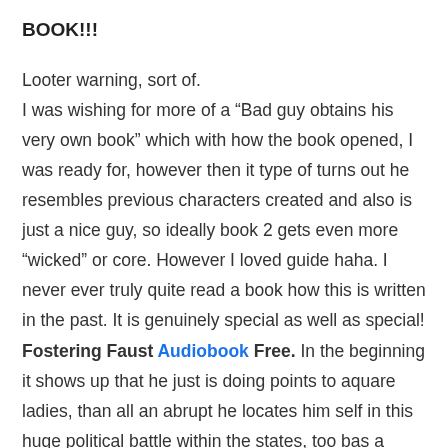BOOK!!!
Looter warning, sort of.
I was wishing for more of a “Bad guy obtains his very own book” which with how the book opened, I was ready for, however then it type of turns out he resembles previous characters created and also is just a nice guy, so ideally book 2 gets even more “wicked” or core. However I loved guide haha. I never ever truly quite read a book how this is written in the past. It is genuinely special as well as special! Fostering Faust Audiobook Free. In the beginning it shows up that he just is doing points to aquare ladies, than all an abrupt he locates him self in this huge political battle within the states, too bas a massive power struggle. The last fifty percent of the book was all about the war he was dealing with. I admitt I could not place this publication